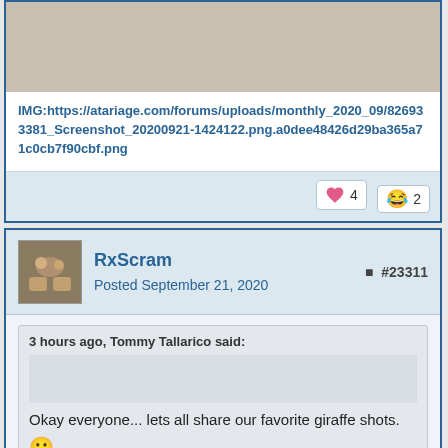IMG:https://atariage.com/forums/uploads/monthly_2020_09/826933381_Screenshot_20200921-1424122.png.a0dee48426d29ba365a71c0cb7f90cbf.png
❤ 4   😂 2
RxScram
Posted September 21, 2020
#23311
3 hours ago, Tommy Tallarico said:
Okay everyone... lets all share our favorite giraffe shots. 🙂
Here are a few from my trip to South Africa a few years ago...